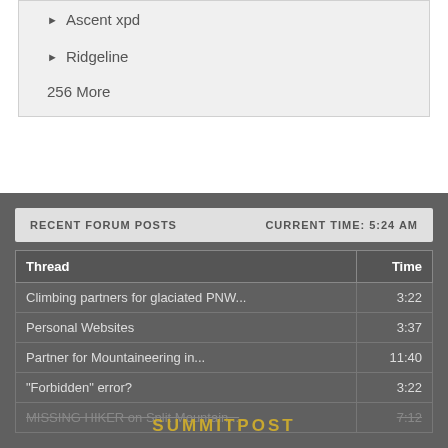Ascent xpd
Ridgeline
256 More
RECENT FORUM POSTS    CURRENT TIME: 5:24 AM
| Thread | Time |
| --- | --- |
| Climbing partners for glaciated PNW... | 3:22 |
| Personal Websites | 3:37 |
| Partner for Mountaineering in... | 11:40 |
| "Forbidden" error? | 3:22 |
| MISSING HIKER on Split Mountain... | 7:12 |
SUMMITPOST